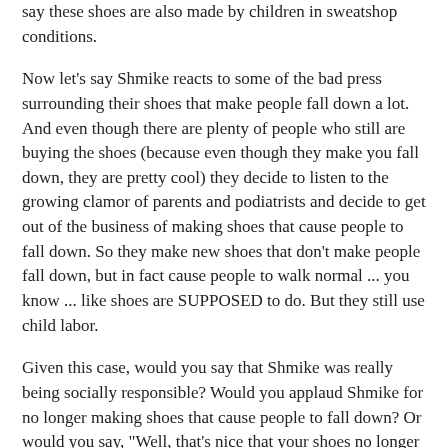say these shoes are also made by children in sweatshop conditions.
Now let's say Shmike reacts to some of the bad press surrounding their shoes that make people fall down a lot. And even though there are plenty of people who still are buying the shoes (because even though they make you fall down, they are pretty cool) they decide to listen to the growing clamor of parents and podiatrists and decide to get out of the business of making shoes that cause people to fall down. So they make new shoes that don't make people fall down, but in fact cause people to walk normal ... you know ... like shoes are SUPPOSED to do. But they still use child labor.
Given this case, would you say that Shmike was really being socially responsible? Would you applaud Shmike for no longer making shoes that cause people to fall down? Or would you say, "Well, that's nice that your shoes no longer make people fall down, but uh, how about you stop with the sweatshops, mkay?"
The point is that the word "Shmike" has are not a brand, but a...